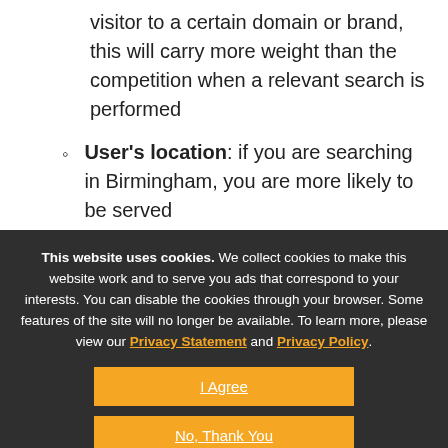visitor to a certain domain or brand, this will carry more weight than the competition when a relevant search is performed
User's location: if you are searching in Birmingham, you are more likely to be served
This website uses cookies. We collect cookies to make this website work and to serve you ads that correspond to your interests. You can disable the cookies through your browser. Some features of the site will no longer be available. To learn more, please view our Privacy Statement and Privacy Policy.
I Agree
No, Thank You
Show details